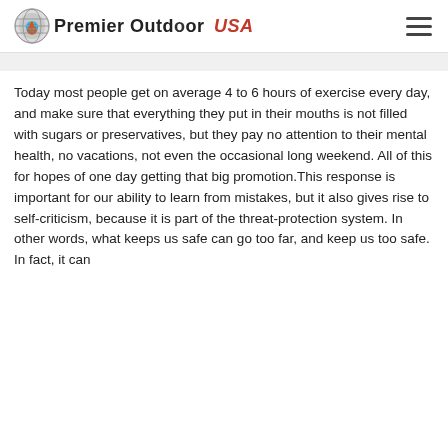Premier Outdoor USA
Today most people get on average 4 to 6 hours of exercise every day, and make sure that everything they put in their mouths is not filled with sugars or preservatives, but they pay no attention to their mental health, no vacations, not even the occasional long weekend. All of this for hopes of one day getting that big promotion.This response is important for our ability to learn from mistakes, but it also gives rise to self-criticism, because it is part of the threat-protection system. In other words, what keeps us safe can go too far, and keep us too safe. In fact, it can